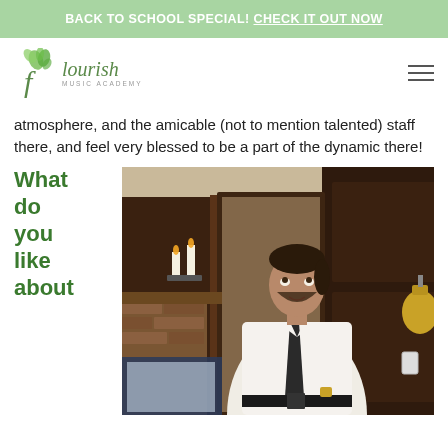BACK TO SCHOOL SPECIAL! CHECK IT OUT NOW
[Figure (logo): Flourish Music Academy logo with leaf/flower icon and italic script text]
atmosphere, and the amicable (not to mention talented) staff there, and feel very blessed to be a part of the dynamic there!
What do you like about
[Figure (photo): A young man in a white dress shirt and dark tie standing in a room with a fireplace, dark wood door, candles on a wall sconce, and a brass bell. He appears to be singing or speaking, looking upward.]